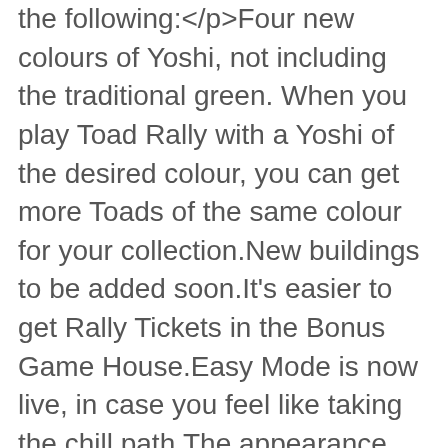the following:</p>Four new colours of Yoshi, not including the traditional green. When you play Toad Rally with a Yoshi of the desired colour, you can get more Toads of the same colour for your collection.New buildings to be added soon.It's easier to get Rally Tickets in the Bonus Game House.Easy Mode is now live, in case you feel like taking the chill path.The appearance rate of different coloured Toads has been adjusted.The 'How to Play' instructions are a little easier to understand.The ease of play has improved by making Rally Tickets more abundant, and by tweaking the requirements needed to unlock buildings in the shop.Plus, the usual bits and bug tweaks and patches.<p>Grab Super Mario Run on Google Play or the App